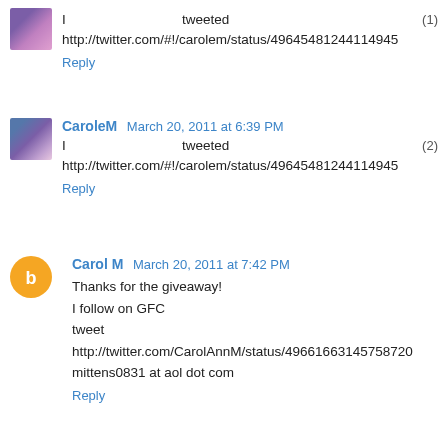I tweeted (1) http://twitter.com/#!/carolem/status/49645481244114945
Reply
CaroleM March 20, 2011 at 6:39 PM
I tweeted (2) http://twitter.com/#!/carolem/status/49645481244114945
Reply
Carol M March 20, 2011 at 7:42 PM
Thanks for the giveaway!
I follow on GFC
tweet http://twitter.com/CarolAnnM/status/49661663145758720
mittens0831 at aol dot com
Reply